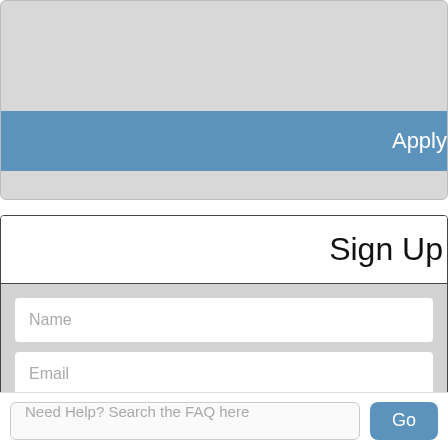[Figure (screenshot): Top section with a blue 'Apply' button bar on a light gray background, partially cropped]
Sign Up
Name (placeholder text in form field)
Email (placeholder text in form field)
Ashburn, VA US (pre-filled form field)
I agree to the terms of service and privacy policy
Need Help? Search the FAQ here
Go